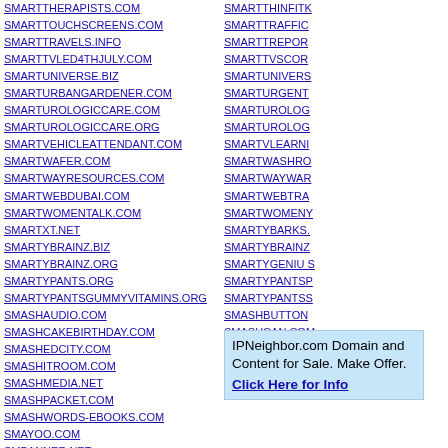SMARTTHERAPISTS.COM
SMARTTOUCHSCREENS.COM
SMARTTRAVELS.INFO
SMARTTVLED4THJULY.COM
SMARTUNIVERSE.BIZ
SMARTURBANGARDENER.COM
SMARTUROLOGICCARE.COM
SMARTUROLOGICCARE.ORG
SMARTVEHICLEATTENDANT.COM
SMARTWAFER.COM
SMARTWAYRESOURCES.COM
SMARTWEBDUBAI.COM
SMARTWOMENTALK.COM
SMARTXT.NET
SMARTYBRAINZ.BIZ
SMARTYBRAINZ.ORG
SMARTYPANTS.ORG
SMARTYPANTSGUMMYVITAMINS.ORG
SMASHAUDIO.COM
SMASHCAKEBIRTHDAY.COM
SMASHEDCITY.COM
SMASHITROOM.COM
SMASHMEDIA.NET
SMASHPACKET.COM
SMASHWORDS-EBOOKS.COM
SMAYOO.COM
SMBANNER.NET
SMBCLOUDSECURITY.COM
SMARTTHINFITK...
SMARTTRAFFIC...
SMARTTREPOR...
SMARTTVSCOR...
SMARTUNIVERS...
SMARTURGENT...
SMARTUROLOG...
SMARTUROLOG...
SMARTVLEARNI...
SMARTWASHRO...
SMARTWAYWAR...
SMARTWEBTRA...
SMARTWOMENY...
SMARTYBARKS....
SMARTYBRAINZ...
SMARTYGENIU S...
SMARTYPANTSP...
SMARTYPANTSS...
SMASHBUTTON...
SMASHCAN.COM...
SMASHEDOLIVE...
SMASHITROOM...
SMASHMELLOW...
IPNeighbor.com Domain and Content for Sale. Make Offer. Click Here for Info